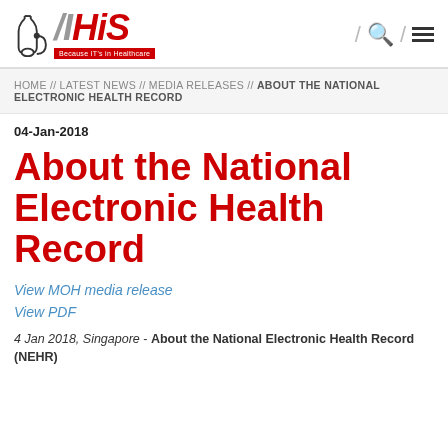[Figure (logo): IHiS logo with stethoscope icon and tagline 'Because IT's in Healthcare']
HOME // LATEST NEWS // MEDIA RELEASES // ABOUT THE NATIONAL ELECTRONIC HEALTH RECORD
04-Jan-2018
About the National Electronic Health Record
View MOH media release
View PDF
4 Jan 2018, Singapore - About the National Electronic Health Record (NEHR)